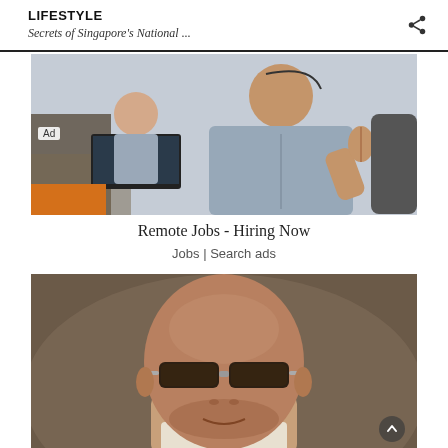LIFESTYLE
Secrets of Singapore's National ...
[Figure (photo): Office worker in gray shirt giving thumbs up at desk, with colleague in background working at computer. Ad image for remote jobs.]
Ad
Remote Jobs - Hiring Now
Jobs | Search ads
[Figure (photo): Close-up portrait of a man wearing dark tinted rimless sunglasses and a small diamond earring, with blurred background.]